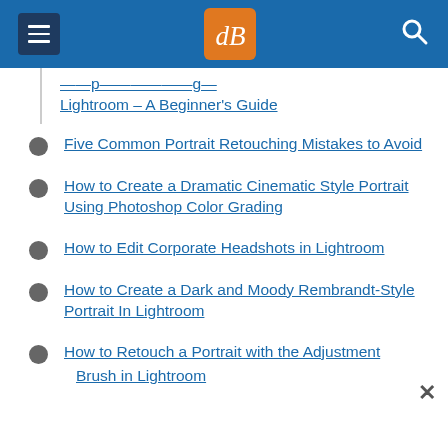dPS navigation header
Lightroom – A Beginner's Guide
Five Common Portrait Retouching Mistakes to Avoid
How to Create a Dramatic Cinematic Style Portrait Using Photoshop Color Grading
How to Edit Corporate Headshots in Lightroom
How to Create a Dark and Moody Rembrandt-Style Portrait In Lightroom
How to Retouch a Portrait with the Adjustment Brush in Lightroom